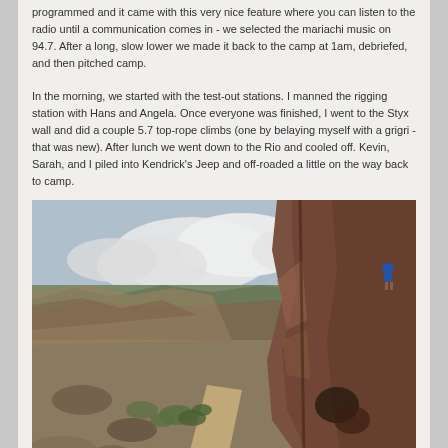programmed and it came with this very nice feature where you can listen to the radio until a communication comes in - we selected the mariachi music on 94.7. After a long, slow lower we made it back to the camp at 1am, debriefed, and then pitched camp.
In the morning, we started with the test-out stations. I manned the rigging station with Hans and Angela. Once everyone was finished, I went to the Styx wall and did a couple 5.7 top-rope climbs (one by belaying myself with a grigri - that was new). After lunch we went down to the Rio and cooled off. Kevin, Sarah, and I piled into Kendrick's Jeep and off-roaded a little on the way back to camp.
[Figure (photo): A canyon landscape with a dirt trail, scrubby vegetation, and a large reddish-brown rock cliff face on the right side. A person in a blue jacket is visible standing high on the rock face. The sky has white clouds and the canyon stretches into the distance.]